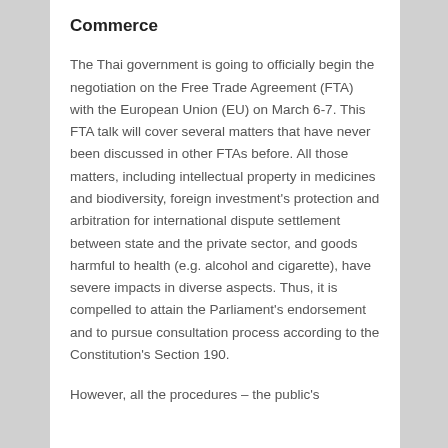Commerce
The Thai government is going to officially begin the negotiation on the Free Trade Agreement (FTA) with the European Union (EU) on March 6-7. This FTA talk will cover several matters that have never been discussed in other FTAs before. All those matters, including intellectual property in medicines and biodiversity, foreign investment's protection and arbitration for international dispute settlement between state and the private sector, and goods harmful to health (e.g. alcohol and cigarette), have severe impacts in diverse aspects. Thus, it is compelled to attain the Parliament's endorsement and to pursue consultation process according to the Constitution's Section 190.
However, all the procedures – the public's